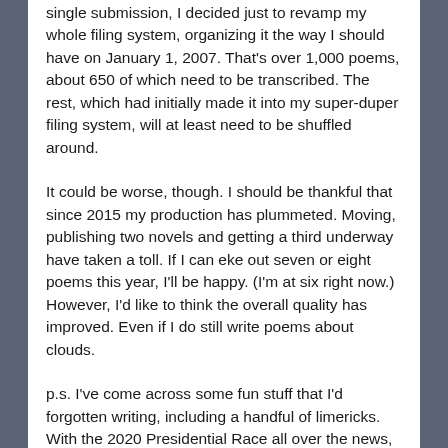single submission, I decided just to revamp my whole filing system, organizing it the way I should have on January 1, 2007. That's over 1,000 poems, about 650 of which need to be transcribed. The rest, which had initially made it into my super-duper filing system, will at least need to be shuffled around.
It could be worse, though. I should be thankful that since 2015 my production has plummeted. Moving, publishing two novels and getting a third underway have taken a toll. If I can eke out seven or eight poems this year, I'll be happy. (I'm at six right now.) However, I'd like to think the overall quality has improved. Even if I do still write poems about clouds.
p.s. I've come across some fun stuff that I'd forgotten writing, including a handful of limericks. With the 2020 Presidential Race all over the news, here's one from three years ago that seems timely again: